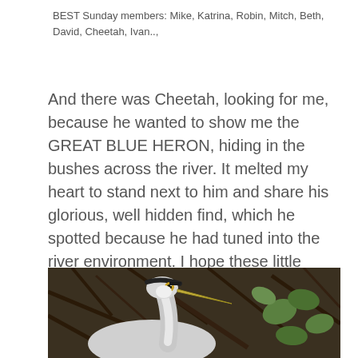BEST Sunday members: Mike, Katrina, Robin, Mitch, Beth, David, Cheetah, Ivan..,
And there was Cheetah, looking for me, because he wanted to show me the GREAT BLUE HERON, hiding in the bushes across the river. It melted my heart to stand next to him and share his glorious, well hidden find, which he spotted because he had tuned into the river environment. I hope these little insights highlighted some of the many touching moments that I treasure dearly ~ fortunate jane chirps
[Figure (photo): Close-up photograph of a Great Blue Heron's head and neck among branches and green leaves. The bird has a distinctive yellow eye, long pointed beak, white and grey plumage with dark markings on its head.]